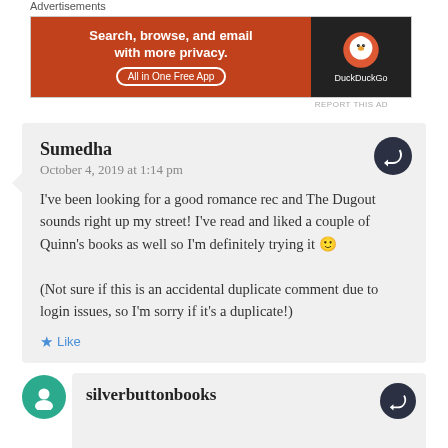Advertisements
[Figure (illustration): DuckDuckGo advertisement banner: orange left side with text 'Search, browse, and email with more privacy. All in One Free App' and dark right side with DuckDuckGo logo]
REPORT THIS AD
Sumedha
October 4, 2019 at 1:14 pm
I've been looking for a good romance rec and The Dugout sounds right up my street! I've read and liked a couple of Quinn’s books as well so I'm definitely trying it 🙂

(Not sure if this is an accidental duplicate comment due to login issues, so I'm sorry if it's a duplicate!)
Like
silverbuttonbooks